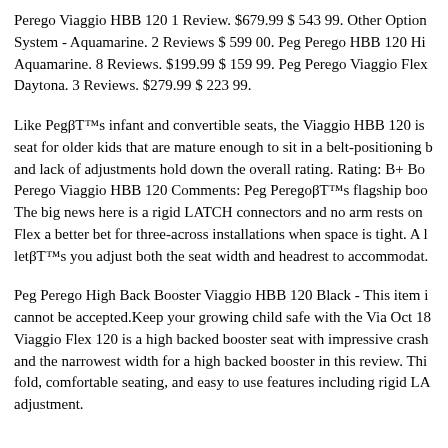Perego Viaggio HBB 120 1 Review. $679.99 $ 543 99. Other Options System - Aquamarine. 2 Reviews $ 599 00. Peg Perego HBB 120 Hi Aquamarine. 8 Reviews. $199.99 $ 159 99. Peg Perego Viaggio Flex Daytona. 3 Reviews. $279.99 $ 223 99.
Like Peg’s infant and convertible seats, the Viaggio HBB 120 is a seat for older kids that are mature enough to sit in a belt-positioning b and lack of adjustments hold down the overall rating. Rating: B+ Bo Perego Viaggio HBB 120 Comments: Peg Perego’s flagship boo The big news here is a rigid LATCH connectors and no arm rests on Flex a better bet for three-across installations when space is tight. A l let’s you adjust both the seat width and headrest to accommodat.
Peg Perego High Back Booster Viaggio HBB 120 Black - This item i cannot be accepted.Keep your growing child safe with the Via Oct 18 Viaggio Flex 120 is a high backed booster seat with impressive crash and the narrowest width for a high backed booster in this review. Thi fold, comfortable seating, and easy to use features including rigid LA adjustment.